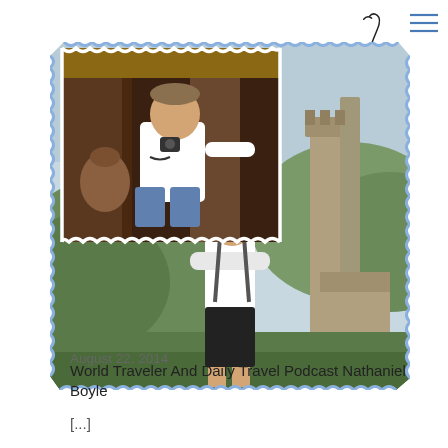[Figure (logo): Stylized cursive signature/logo in dark ink with slight rotation, resembling the letter J with a pen stroke]
[Figure (photo): Composite postage-stamp style image with zigzag blue border containing two overlapping travel photos: top-left shows a man in a white shirt crouching in what appears to be a wooden structure, bottom shows a young man in a white t-shirt with arms crossed standing on the Great Wall of China with forested hills and wall sections in the background]
August 22, 2014
World Traveler And Daily Travel Podcast Nathaniel Boyle
[...]